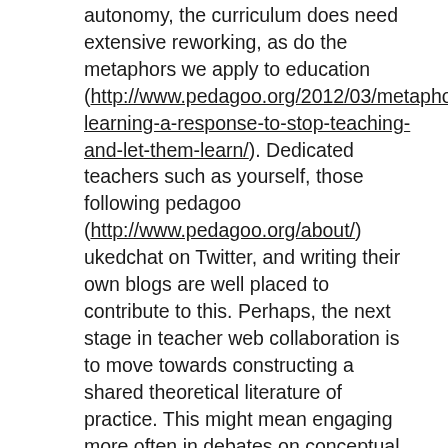autonomy, the curriculum does need extensive reworking, as do the metaphors we apply to education (http://www.pedagoo.org/2012/03/metaphors-learning-a-response-to-stop-teaching-and-let-them-learn/). Dedicated teachers such as yourself, those following pedagoo (http://www.pedagoo.org/about/) ukedchat on Twitter, and writing their own blogs are well placed to contribute to this. Perhaps, the next stage in teacher web collaboration is to move towards constructing a shared theoretical literature of practice. This might mean engaging more often in debates on conceptual issues, such as this, as well as sharing good ideas on practice. It happens already, but perhaps needs to be more systematic with